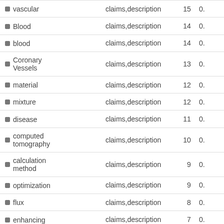| Term | Source | Count | Score |
| --- | --- | --- | --- |
| vascular | claims,description | 15 | 0. |
| Blood | claims,description | 14 | 0. |
| blood | claims,description | 14 | 0. |
| Coronary Vessels | claims,description | 13 | 0. |
| material | claims,description | 12 | 0. |
| mixture | claims,description | 12 | 0. |
| disease | claims,description | 11 | 0. |
| computed tomography | claims,description | 10 | 0. |
| calculation method | claims,description | 9 | 0. |
| optimization | claims,description | 9 | 0. |
| flux | claims,description | 8 | 0. |
| enhancing | claims,description | 7 | 0. |